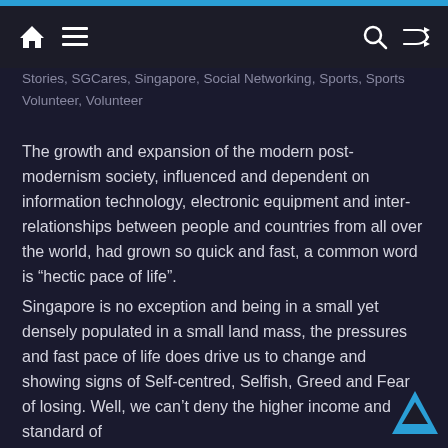Stories, SGCares, Singapore, Social Networking, Sports, Sports Volunteer, Volunteer
The growth and expansion of the modern post-modernism society, influenced and dependent on information technology, electronic equipment and inter-relationships between people and countries from all over the world, had grown so quick and fast, a common word is “hectic pace of life”.
Singapore is no exception and being in a small yet densely populated in a small land mass, the pressures and fast pace of life does drive us to change and showing signs of Self-centred, Selfish, Greed and Fear of losing. Well, we can’t deny the higher income and standard of